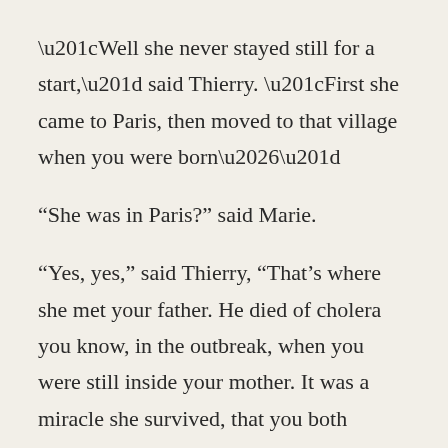“Well she never stayed still for a start,” said Thierry. “First she came to Paris, then moved to that village when you were born…”
“She was in Paris?” said Marie.
“Yes, yes,” said Thierry, “That’s where she met your father. He died of cholera you know, in the outbreak, when you were still inside your mother. It was a miracle she survived, that you both survived. I guess that’s why she wanted to go back to the countryside.”
“So she came first from the village?” said Marie. “The one where I grew up?”